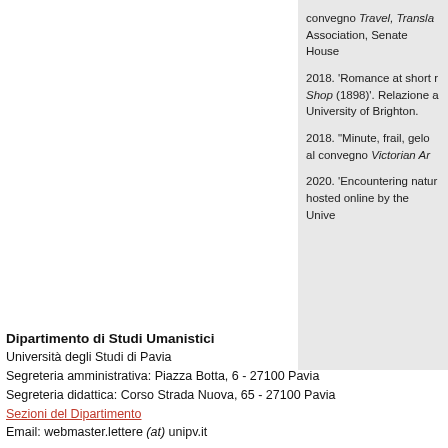convegno Travel, Translation Association, Senate House 2018. 'Romance at short r Shop (1898)'. Relazione a University of Brighton. 2018. "Minute, frail, gelo al convegno Victorian Ar 2020. 'Encountering natur hosted online by the Unive
Dipartimento di Studi Umanistici
Università degli Studi di Pavia
Segreteria amministrativa: Piazza Botta, 6 - 27100 Pavia
Segreteria didattica: Corso Strada Nuova, 65 - 27100 Pavia
Sezioni del Dipartimento
Email: webmaster.lettere (at) unipv.it